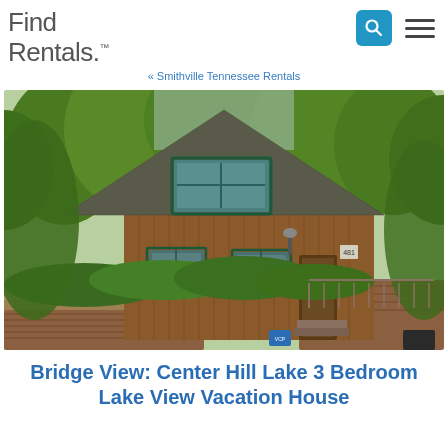Find Rentals
« Smithville Tennessee Rentals
[Figure (photo): Exterior photo of a brown wood A-frame cabin with green trim windows, surrounded by lush green trees, with a deck and stone driveway visible.]
Bridge View: Center Hill Lake 3 Bedroom Lake View Vacation House